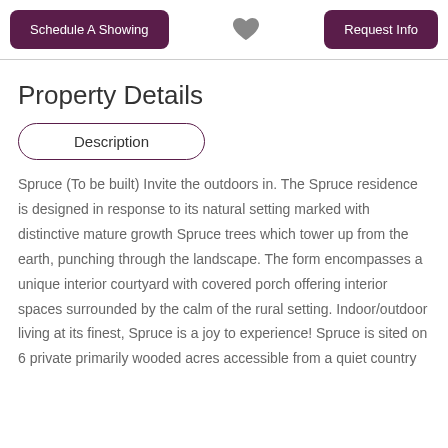Schedule A Showing | [heart icon] | Request Info
Property Details
Description
Spruce (To be built) Invite the outdoors in. The Spruce residence is designed in response to its natural setting marked with distinctive mature growth Spruce trees which tower up from the earth, punching through the landscape. The form encompasses a unique interior courtyard with covered porch offering interior spaces surrounded by the calm of the rural setting. Indoor/outdoor living at its finest, Spruce is a joy to experience! Spruce is sited on 6 private primarily wooded acres accessible from a quiet country